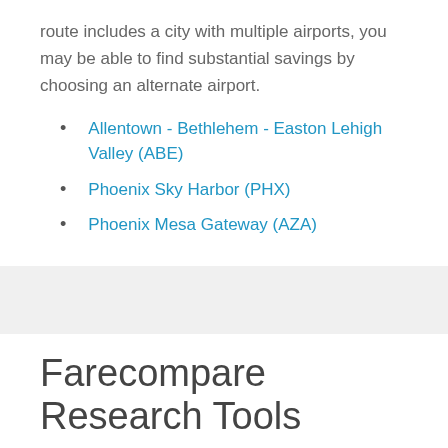route includes a city with multiple airports, you may be able to find substantial savings by choosing an alternate airport.
Allentown - Bethlehem - Easton Lehigh Valley (ABE)
Phoenix Sky Harbor (PHX)
Phoenix Mesa Gateway (AZA)
Farecompare Research Tools
FareCompare's Flight Schedule Search Tool helps you